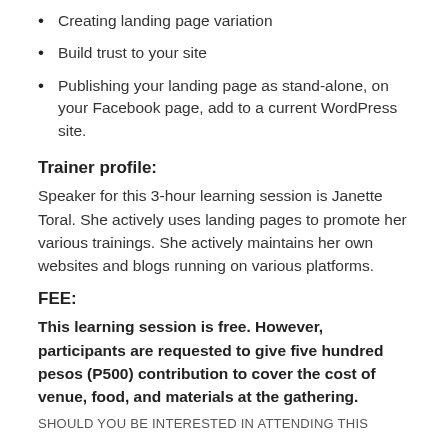Creating landing page variation
Build trust to your site
Publishing your landing page as stand-alone, on your Facebook page, add to a current WordPress site.
Trainer profile:
Speaker for this 3-hour learning session is Janette Toral. She actively uses landing pages to promote her various trainings. She actively maintains her own websites and blogs running on various platforms.
FEE:
This learning session is free. However, participants are requested to give five hundred pesos (P500) contribution to cover the cost of venue, food, and materials at the gathering.
SHOULD YOU BE INTERESTED IN ATTENDING THIS